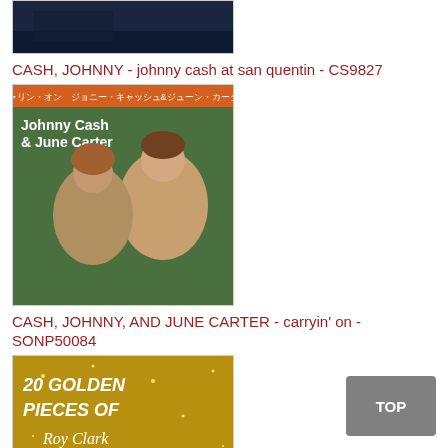[Figure (photo): Partial album cover image at top, partially cropped, dark blue tones]
CASH, JOHNNY - johnny cash at san quentin - CS9827
[Figure (photo): Album cover for Johnny Cash and June Carter - carryin' on - SONP50084, showing Johnny Cash and June Carter smiling together]
CASH, JOHNNY, AND JUNE CARTER - carryin' on - SONP50084
[Figure (photo): Album cover for 20 Golden Pieces of Roy Clark - BDL2038, gold glittery background with Roy Clark's portrait]
CLARK, ROY - 20 golden pieces of roy clark - BDL2038
[Figure (photo): Partial album cover at bottom, shows a person (Rodney Crowell) with dark hair, partially cropped]